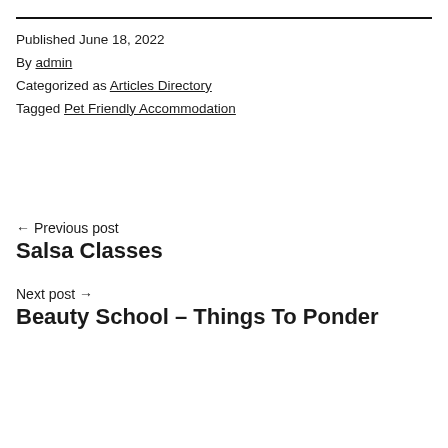Published June 18, 2022
By admin
Categorized as Articles Directory
Tagged Pet Friendly Accommodation
← Previous post
Salsa Classes
Next post →
Beauty School – Things To Ponder